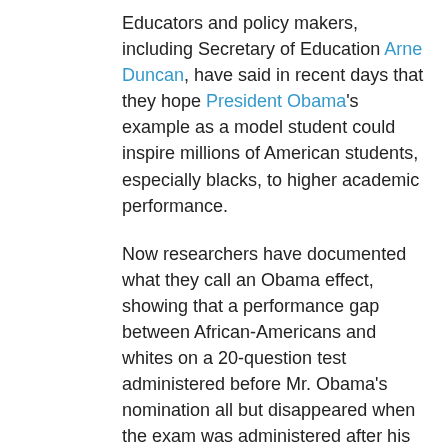Educators and policy makers, including Secretary of Education Arne Duncan, have said in recent days that they hope President Obama's example as a model student could inspire millions of American students, especially blacks, to higher academic performance.
Now researchers have documented what they call an Obama effect, showing that a performance gap between African-Americans and whites on a 20-question test administered before Mr. Obama's nomination all but disappeared when the exam was administered after his acceptance speech and again after the presidential election.
The inspiring role model that Mr. Obama projected helped blacks overcome anxieties about racial stereotypes that had been shown, in earlier research, to lower the test-taking proficiency of African-Americans, the researchers conclude in a report summarizing their results.